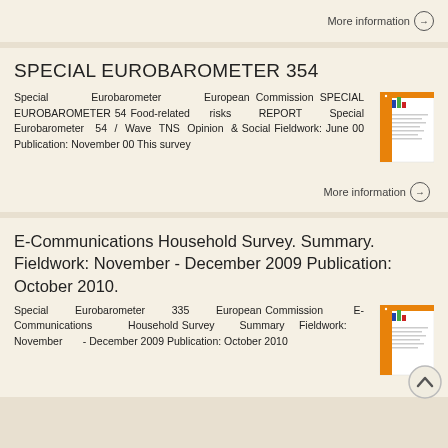More information →
SPECIAL EUROBAROMETER 354
Special Eurobarometer European Commission SPECIAL EUROBAROMETER 54 Food-related risks REPORT Special Eurobarometer 54 / Wave TNS Opinion & Social Fieldwork: June 00 Publication: November 00 This survey
[Figure (illustration): Thumbnail image of a Eurobarometer report cover with orange and chart elements]
More information →
E-Communications Household Survey. Summary. Fieldwork: November - December 2009 Publication: October 2010.
Special Eurobarometer 335 European Commission E-Communications Household Survey Summary Fieldwork: November - December 2009 Publication: October 2010
[Figure (illustration): Thumbnail image of a Eurobarometer report cover with orange and chart elements]